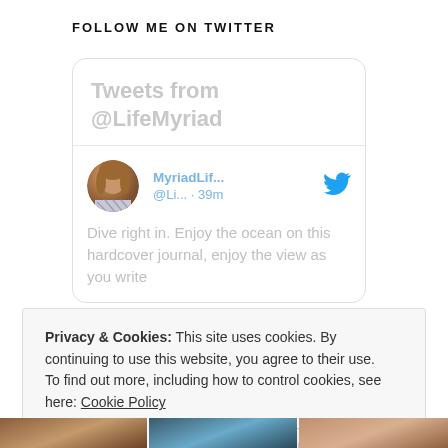FOLLOW ME ON TWITTER
[Figure (screenshot): Embedded Twitter widget showing tweets from @LifeMyriad. Header text 'Tweets from @LifeMyriad' in light gray. Below is a tweet entry with a circular profile photo of a woman, username 'MyriadLif...' and handle '@Li... · 39m', a blue Twitter bird icon, and tweet text 'Dive right in. Enjoy the ocean on this hardcover journal, enjoy the view as you write']
Privacy & Cookies: This site uses cookies. By continuing to use this website, you agree to their use.
To find out more, including how to control cookies, see here: Cookie Policy
Close and accept
[Figure (photo): Bottom strip showing three partial thumbnail images]